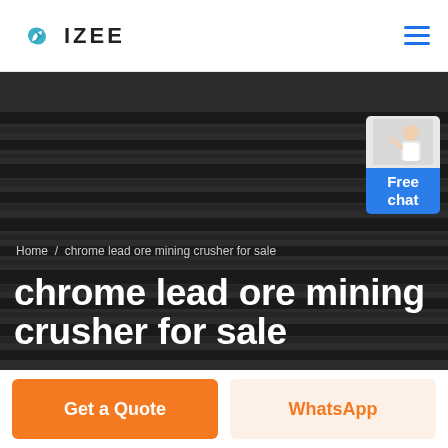IZEE
[Figure (screenshot): Dark hero banner with striped clothing background. Shows breadcrumb navigation 'Home / chrome lead ore mining crusher for sale' and large white bold title 'chrome lead ore mining crusher for sale'. A 'Free chat' customer service widget appears in the top-right of the banner.]
Home / chrome lead ore mining crusher for sale
chrome lead ore mining crusher for sale
Free chat
Get a Quote
WhatsApp